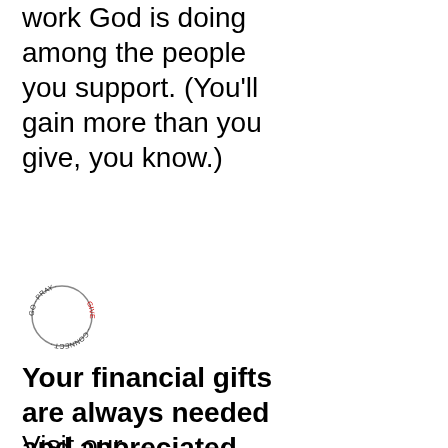work God is doing among the people you support. (You'll gain more than you give, you know.)
[Figure (logo): Circular logo with text 'GO · PRAY · GIVE · CONNECT' around a circle outline, with 'GIVE' in red]
Your financial gifts are always needed and appreciated.
Visit our